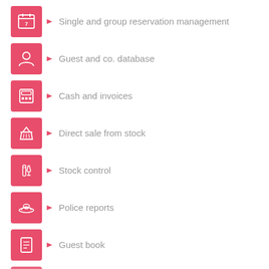Single and group reservation management
Guest and co. database
Cash and invoices
Direct sale from stock
Stock control
Police reports
Guest book